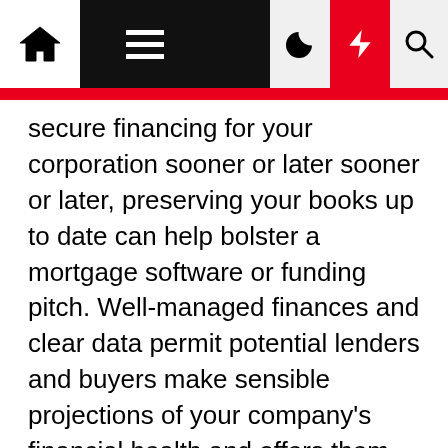[Navigation bar with home, menu, moon, bolt, and search icons]
secure financing for your corporation sooner or later sooner or later, preserving your books up to date can help bolster a mortgage software or funding pitch. Well-managed finances and clear data permit potential lenders and buyers make sensible projections of your company's financial health and offers them confidence to spend cash on you. If you have no information to start out with, you still can collect useful info by speaking to other business homeowners in your business (if you don't know any, your accountant might) and doing some analysis online. Chances are, with slightly digging, you'll have the ability to discover some tough numbers on the extent of progress to anticipate in your first year and which months will do the heavy lifting when it comes to sales. Calculating tax deductions, and general tax preparation, is far easier when your